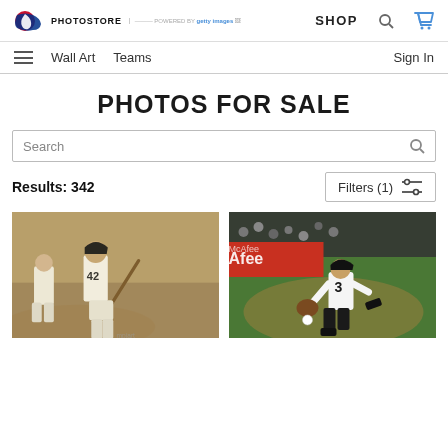MLB PHOTOSTORE | SHOP
Wall Art   Teams   Sign In
PHOTOS FOR SALE
Search
Results: 342
Filters (1)
[Figure (photo): Vintage sepia-tone baseball photo showing player #42 at home plate with bat, another player crouching]
[Figure (photo): Color photo of a Giants baseball infielder in white uniform fielding a ground ball, stadium advertising visible in background]